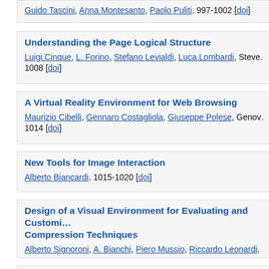Guido Tascini, Anna Montesanto, Paolo Puliti. 997-1002 [doi]
Understanding the Page Logical Structure
Luigi Cinque, L. Forino, Stefano Levialdi, Luca Lombardi, Steve... 1008 [doi]
A Virtual Reality Environment for Web Browsing
Maurizio Cibelli, Gennaro Costagliola, Giuseppe Polese, Genov... 1014 [doi]
New Tools for Image Interaction
Alberto Biancardi. 1015-1020 [doi]
Design of a Visual Environment for Evaluating and Customizing Compression Techniques
Alberto Signoroni, A. Bianchi, Piero Mussio, Riccardo Leonardi.
ToCAI: A Framework for Indexing and Retrieval of Multimed...
Nicola Adami, Alesandro Bugatti, A. Corghi, Riccardo Leonardi...